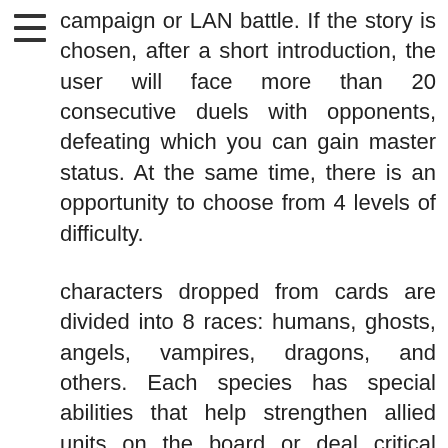campaign or LAN battle. If the story is chosen, after a short introduction, the user will face more than 20 consecutive duels with opponents, defeating which you can gain master status. At the same time, there is an opportunity to choose from 4 levels of difficulty.
characters dropped from cards are divided into 8 races: humans, ghosts, angels, vampires, dragons, and others. Each species has special abilities that help strengthen allied units on the board or deal critical damage. When you select it, you get detailed stats on the character (health, damage, attack type and level). The last parameter is especially important, because if you misallocate resources, you can get into a situation where the opponent has high-level units,